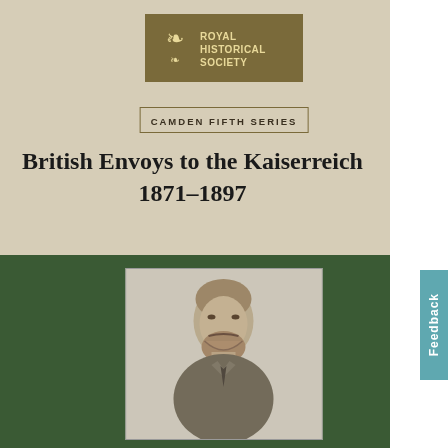[Figure (logo): Royal Historical Society logo with decorative emblem and text in gold on dark olive background]
CAMDEN FIFTH SERIES
British Envoys to the Kaiserreich 1871–1897
[Figure (photo): Black and white portrait illustration of a bearded Victorian-era man in a suit]
Feedback